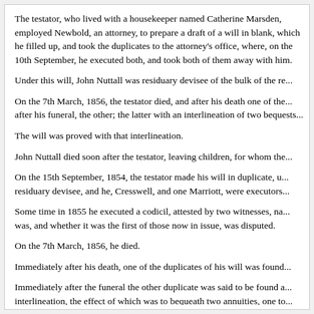The testator, who lived with a housekeeper named Catherine Marsden, employed Newbold, an attorney, to prepare a draft of a will in blank, which he filled up, and took the duplicates to the attorney's office, where, on the 10th September, he executed both, and took both of them away with him.
Under this will, John Nuttall was residuary devisee of the bulk of the re...
On the 7th March, 1856, the testator died, and after his death one of th... after his funeral, the other; the latter with an interlineation of two beque...
The will was proved with that interlineation.
John Nuttall died soon after the testator, leaving children, for whom the...
On the 15th September, 1854, the testator made his will in duplicate, u... residuary devisee, and he, Cresswell, and one Marriott, were executors...
Some time in 1855 he executed a codicil, attested by two witnesses, na... was, and whether it was the first of those now in issue, was disputed.
On the 7th March, 1856, he died.
Immediately after his death, one of the duplicates of his will was found...
Immediately after the funeral the other duplicate was said to be found a... interlineation, the effect of which was to bequeath two annuities, one to... agent or assistant, the co-plaintiff Else; and the will was proved with tha...